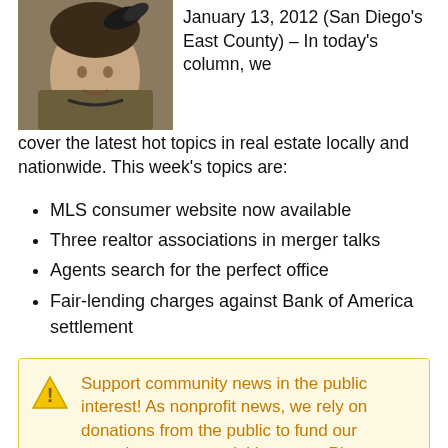[Figure (photo): Portrait photo of a woman in a tweed jacket with a feathered hat accessory]
January 13, 2012 (San Diego's East County) – In today's column, we cover the latest hot topics in real estate locally and nationwide.  This week's topics are:
MLS consumer website now available
Three realtor associations in merger talks
Agents search for the perfect office
Fair-lending charges against Bank of America settlement
Support community news in the public interest! As nonprofit news, we rely on donations from the public to fund our reporting -- not special interests. Please donate to sustain East County